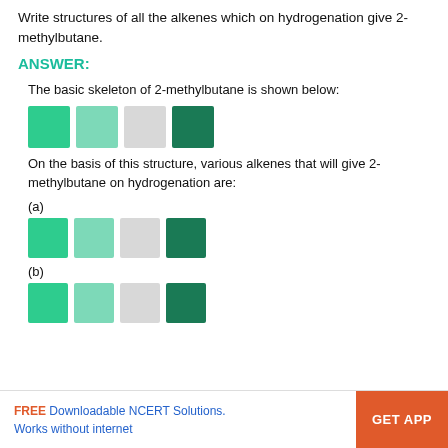Write structures of all the alkenes which on hydrogenation give 2-methylbutane.
ANSWER:
The basic skeleton of 2-methylbutane is shown below:
[Figure (illustration): Molecular skeleton of 2-methylbutane shown as four colored squares: bright green, light green, light gray, dark green]
On the basis of this structure, various alkenes that will give 2-methylbutane on hydrogenation are:
(a)
[Figure (illustration): Alkene (a) structure shown as four colored squares: bright green, light green, light gray, dark green]
(b)
[Figure (illustration): Alkene (b) structure shown as four colored squares: bright green, light green, light gray, dark green]
FREE Downloadable NCERT Solutions. Works without internet   GET APP